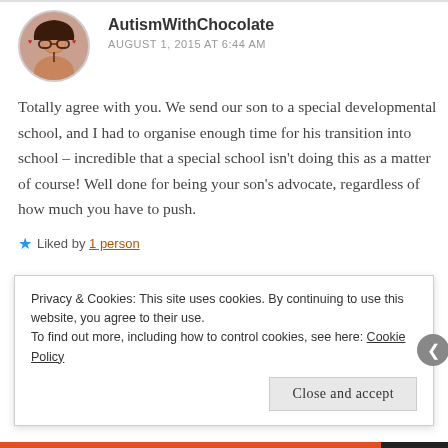AutismWithChocolate
AUGUST 1, 2015 AT 6:44 AM
Totally agree with you. We send our son to a special developmental school, and I had to organise enough time for his transition into school – incredible that a special school isn't doing this as a matter of course! Well done for being your son's advocate, regardless of how much you have to push.
Liked by 1 person
Privacy & Cookies: This site uses cookies. By continuing to use this website, you agree to their use.
To find out more, including how to control cookies, see here: Cookie Policy
Close and accept